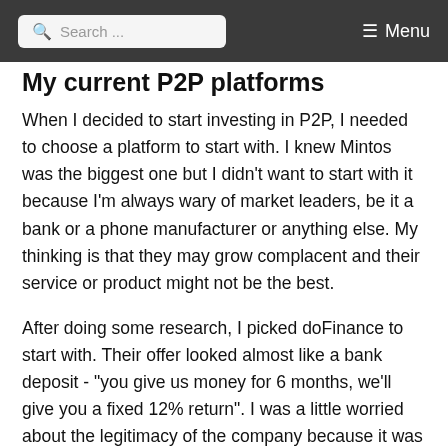Search ... Menu
My current P2P platforms
When I decided to start investing in P2P, I needed to choose a platform to start with. I knew Mintos was the biggest one but I didn't want to start with it because I'm always wary of market leaders, be it a bank or a phone manufacturer or anything else. My thinking is that they may grow complacent and their service or product might not be the best.
After doing some research, I picked doFinance to start with. Their offer looked almost like a bank deposit - "you give us money for 6 months, we'll give you a fixed 12% return". I was a little worried about the legitimacy of the company because it was quite